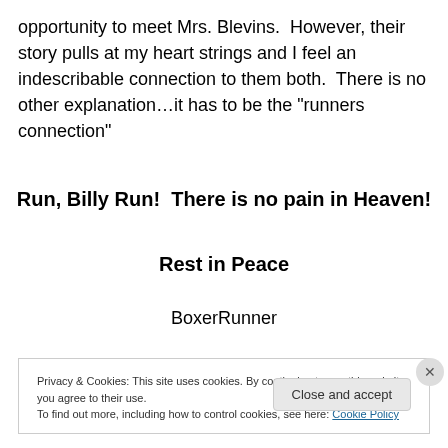opportunity to meet Mrs. Blevins.  However, their story pulls at my heart strings and I feel an indescribable connection to them both.  There is no other explanation…it has to be the “runners connection”
Run, Billy Run!  There is no pain in Heaven!
Rest in Peace
BoxerRunner
Privacy & Cookies: This site uses cookies. By continuing to use this website, you agree to their use.
To find out more, including how to control cookies, see here: Cookie Policy
Close and accept